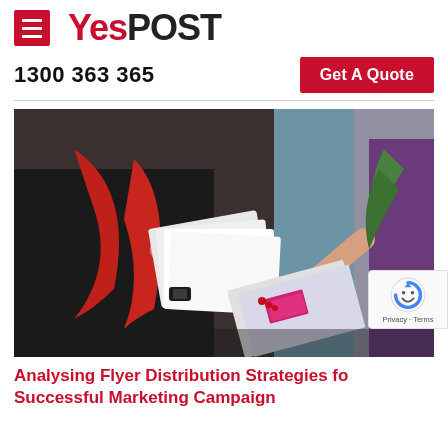YesPOST
1300 363 365
Get A Quote
[Figure (photo): Two women exchanging flyers/brochures indoors. One woman in a black outfit with a red scarf holds a stack of mail/flyers and hands one to another woman in a beige/white top and purple top.]
Analysing Flyer Distribution Strategies for a Successful Marketing Campaign